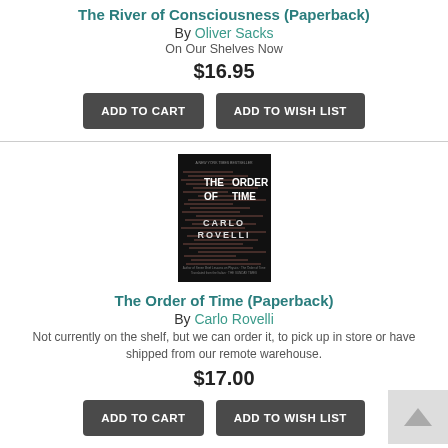The River of Consciousness (Paperback)
By Oliver Sacks
On Our Shelves Now
$16.95
ADD TO CART
ADD TO WISH LIST
[Figure (photo): Book cover of The Order of Time by Carlo Rovelli, black background with horizontal lines in pink/white and title text]
The Order of Time (Paperback)
By Carlo Rovelli
Not currently on the shelf, but we can order it, to pick up in store or have shipped from our remote warehouse.
$17.00
ADD TO CART
ADD TO WISH LIST